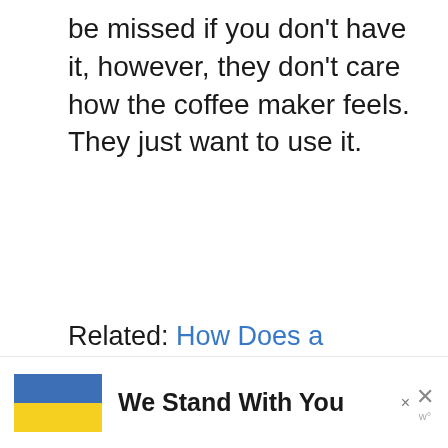be missed if you don't have it, however, they don't care how the coffee maker feels. They just want to use it.
Related: How Does a Narcissist Handle Rejection and No Contact
Patti Wood, MA
[Figure (other): Advertisement banner with Ukrainian flag colors (blue and yellow) and text 'We Stand With You' with a close button]